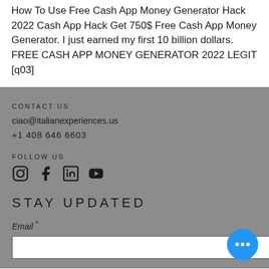How To Use Free Cash App Money Generator Hack 2022 Cash App Hack Get 750$ Free Cash App Money Generator. I just earned my first 10 billion dollars. FREE CASH APP MONEY GENERATOR 2022 LEGIT [q03]
CONTACT US
ciao@italianexperiences.us
+1 408 646 6603
FOLLOW US
[Figure (other): Social media icons: Instagram, Facebook, LinkedIn, YouTube]
STAY UPDATED
Email *
[Figure (other): Email input text field (white box)]
[Figure (other): Blue circular chat bubble button with three white dots]